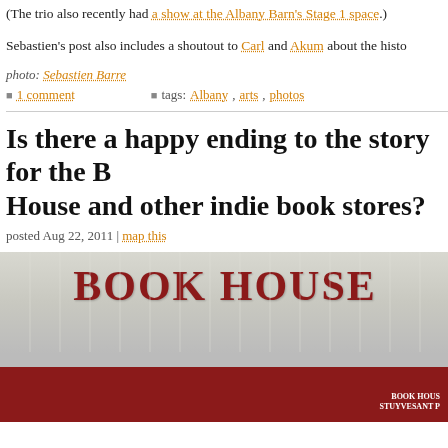(The trio also recently had a show at the Albany Barn's Stage 1 space.)
Sebastien's post also includes a shoutout to Carl and Akum about the histo...
photo: Sebastien Barre
1 comment   tags: Albany, arts, photos
Is there a happy ending to the story for the Book House and other indie book stores?
posted Aug 22, 2011 | map this
[Figure (photo): Exterior photo of Book House store with red awning and large sign reading BOOK HOUSE]